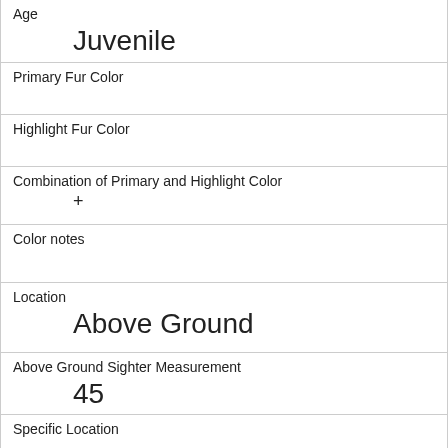| Age | Juvenile |
| Primary Fur Color |  |
| Highlight Fur Color |  |
| Combination of Primary and Highlight Color | + |
| Color notes |  |
| Location | Above Ground |
| Above Ground Sighter Measurement | 45 |
| Specific Location |  |
| Running | 0 |
| Chasing | 0 |